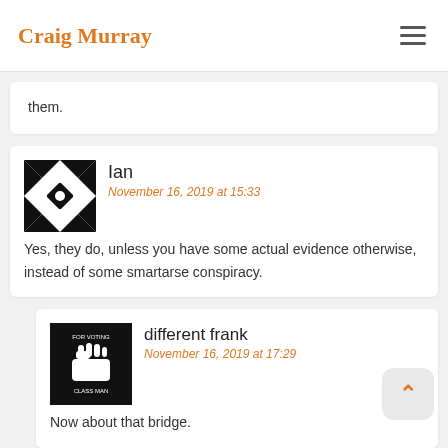Craig Murray
them.
Ian
November 16, 2019 at 15:33
Yes, they do, unless you have some actual evidence otherwise, instead of some smartarse conspiracy.
different frank
November 16, 2019 at 17:29
Now about that bridge.
pretzelattack